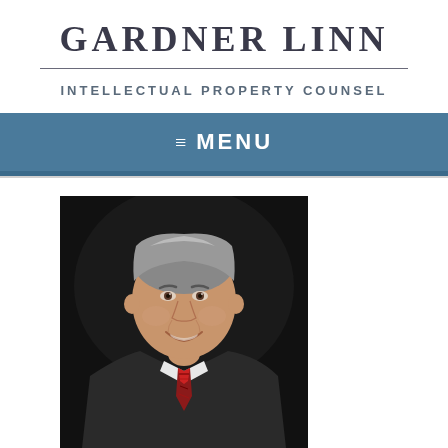GARDNER LINN
INTELLECTUAL PROPERTY COUNSEL
≡ MENU
[Figure (photo): Professional headshot of a middle-aged man with grey hair, wearing a dark suit and red patterned tie, smiling against a dark background]